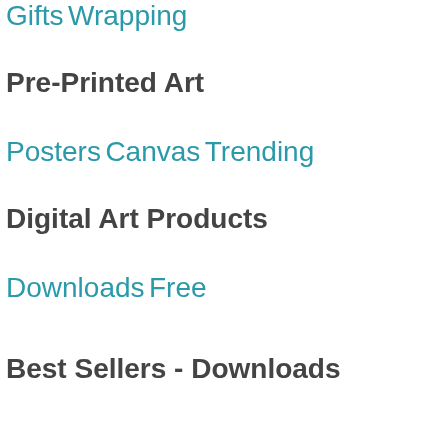Gifts
Wrapping
Pre-Printed Art
Posters
Canvas
Trending
Digital Art Products
Downloads
Free
Best Sellers - Downloads